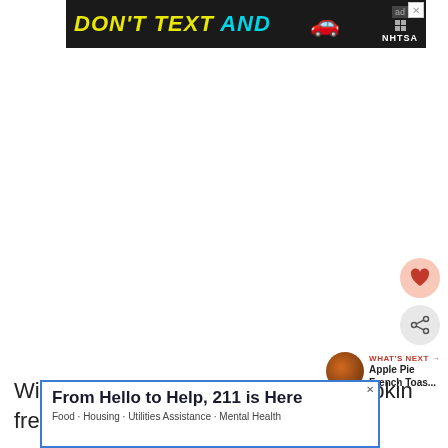[Figure (screenshot): NHTSA 'DON'T TEXT AND DRIVE' advertisement banner with yellow and cyan text on black background with a red car emoji]
[Figure (other): Heart (favorite) button - round pink circle with heart icon]
[Figure (other): Share button - round gray circle with share icon]
[Figure (other): What's Next panel with circular food thumbnail and text 'Apple Pie French Toas...']
With that sorted, what exactly is pumpkin french toast...
[Figure (screenshot): Advertisement: 'From Hello to Help, 211 is Here' with subtitle 'Food · Housing · Utilities Assistance · Mental Health']